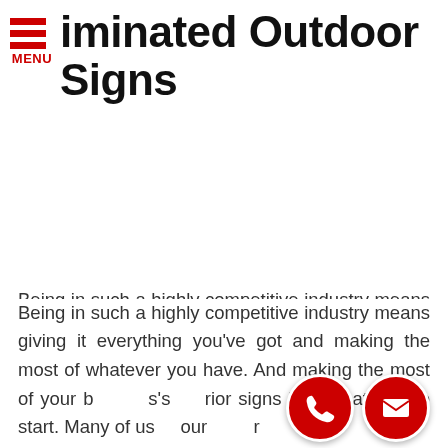Illuminated Outdoor Signs
Being in such a highly competitive industry means giving it everything you've got and making the most of whatever you have. And making the most of your business's exterior signs is a great way to start. Many of usour or